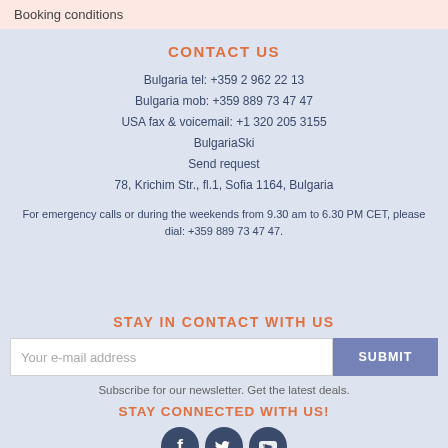Booking conditions
CONTACT US
Bulgaria tel: +359 2 962 22 13
Bulgaria mob: +359 889 73 47 47
USA fax & voicemail: +1 320 205 3155
BulgariaSki
Send request
78, Krichim Str., fl.1, Sofia 1164, Bulgaria
For emergency calls or during the weekends from 9.30 am to 6.30 PM CET, please dial: +359 889 73 47 47.
STAY IN CONTACT WITH US
Your e-mail address
SUBMIT
Subscribe for our newsletter. Get the latest deals.
STAY CONNECTED WITH US!
[Figure (illustration): Three social media icons: Facebook, Twitter, YouTube in dark blue circles]